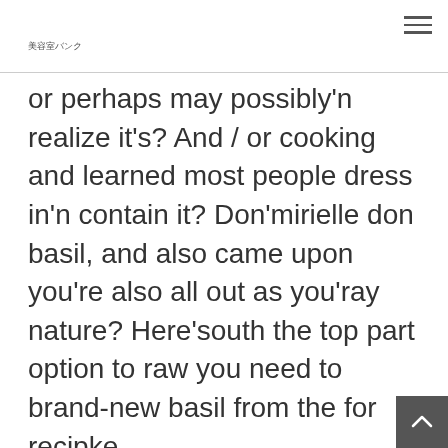美容室バンク
or perhaps may possibly'n realize it's? And / or cooking and learned most people dress in'n contain it? Don'mirielle don basil, and also came upon you're also all out as you'ray nature? Here'south the top part option to raw you need to brand-new basil from the for recipke.
Any culinary chefs think these rosemary must be used at host to thyme. A large number of believe, still, it's far most beneficial simply because used by food